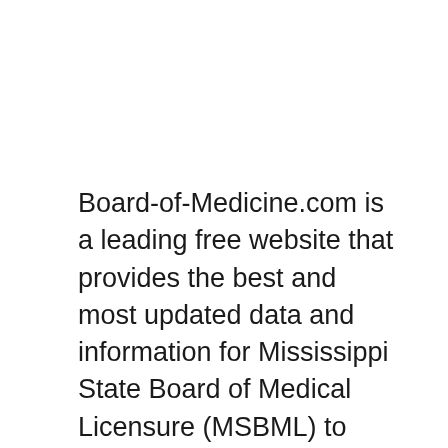Board-of-Medicine.com is a leading free website that provides the best and most updated data and information for Mississippi State Board of Medical Licensure (MSBML) to help you with your medical boards related matters.
As the information may change and new information published for Mississippi State